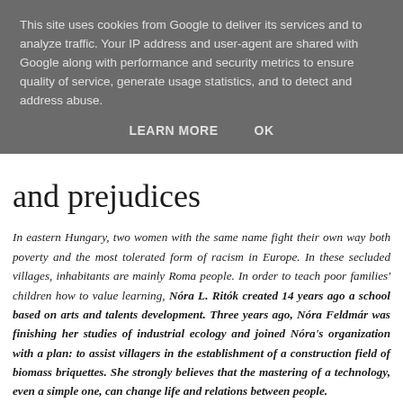This site uses cookies from Google to deliver its services and to analyze traffic. Your IP address and user-agent are shared with Google along with performance and security metrics to ensure quality of service, generate usage statistics, and to detect and address abuse.
LEARN MORE   OK
…and prejudices
In eastern Hungary, two women with the same name fight their own way both poverty and the most tolerated form of racism in Europe. In these secluded villages, inhabitants are mainly Roma people. In order to teach poor families' children how to value learning, Nóra L. Ritók created 14 years ago a school based on arts and talents development. Three years ago, Nóra Feldmár was finishing her studies of industrial ecology and joined Nóra's organization with a plan: to assist villagers in the establishment of a construction field of biomass briquettes. She strongly believes that the mastering of a technology, even a simple one, can change life and relations between people.